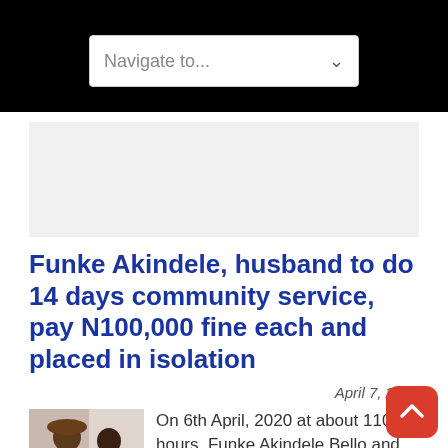Navigate to...
Funke Akindele, husband to do 14 days community service, pay N100,000 fine each and placed in isolation
April 7, 2020
[Figure (photo): Photo of Funke Akindele and her husband]
On 6th April, 2020 at about 1100 hours, Funke Akindele Bello and her husband Abdul Rasheed Bello... more»